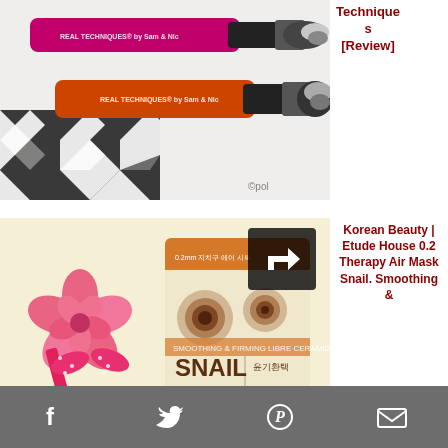[Figure (photo): Two Real Techniques makeup brushes (pink and orange handles with black bristles) laid on a black and white geometric patterned surface. Watermark ©pol visible.]
Techniques [Review]
[Figure (photo): Etude House 0.2 Therapy Air Mask Snail product packet laid on a cream background with a pink rose and pink polka-dot ribbon decoration. Share icon overlay in top right.]
Korean Beauty | Etude House 0.2 Therapy Air Mask Snail. Smoothing &
Facebook  Twitter  Pinterest  Email